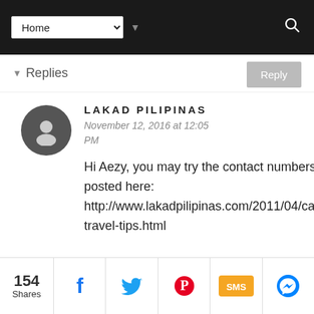Home (navigation dropdown)
▾ Replies
LAKAD PILIPINAS
November 12, 2016 at 12:05 PM
Hi Aezy, you may try the contact numbers I posted here: http://www.lakadpilipinas.com/2011/04/candaba-travel-tips.html
154 Shares